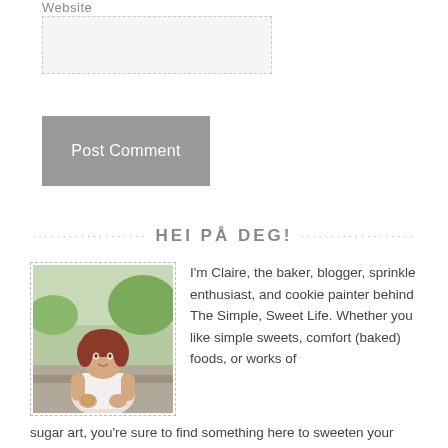Website
[Figure (other): Website text input field (form element)]
[Figure (other): Post Comment button (gray button)]
HEI PÅ DEG!
[Figure (photo): Photo of Claire, the baker and blogger, holding a cookie outdoors]
I'm Claire, the baker, blogger, sprinkle enthusiast, and cookie painter behind The Simple, Sweet Life. Whether you like simple sweets, comfort (baked) foods, or works of sugar art, you're sure to find something here to sweeten your day! Get to know me better here!